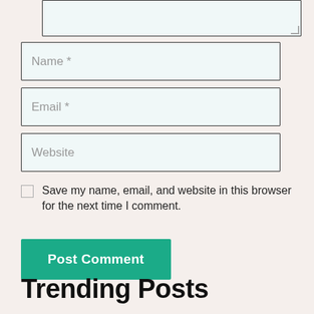[Figure (screenshot): Textarea input field (partially visible at top, stub)]
[Figure (screenshot): Text input field with placeholder 'Name *']
[Figure (screenshot): Text input field with placeholder 'Email *']
[Figure (screenshot): Text input field with placeholder 'Website']
Save my name, email, and website in this browser for the next time I comment.
Post Comment
Trending Posts